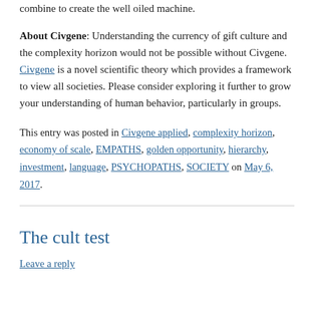combine to create the well oiled machine.
About Civgene: Understanding the currency of gift culture and the complexity horizon would not be possible without Civgene. Civgene is a novel scientific theory which provides a framework to view all societies. Please consider exploring it further to grow your understanding of human behavior, particularly in groups.
This entry was posted in Civgene applied, complexity horizon, economy of scale, EMPATHS, golden opportunity, hierarchy, investment, language, PSYCHOPATHS, SOCIETY on May 6, 2017.
The cult test
Leave a reply